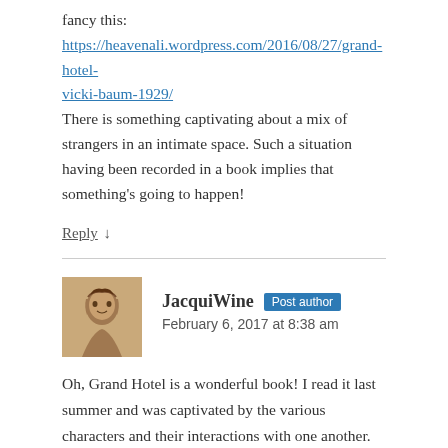fancy this:
https://heavenali.wordpress.com/2016/08/27/grand-hotel-vicki-baum-1929/
There is something captivating about a mix of strangers in an intimate space. Such a situation having been recorded in a book implies that something's going to happen!
Reply ↓
JacquiWine  Post author
February 6, 2017 at 8:38 am
Oh, Grand Hotel is a wonderful book! I read it last summer and was captivated by the various characters and their interactions with one another. There is a sense that everyone is somewhat changed by their experiences at the hotel, some for the better and others for worse. It's a story